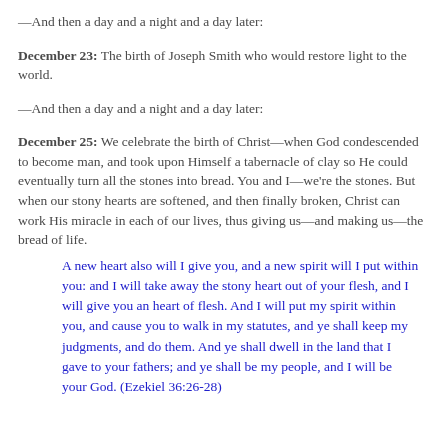—And then a day and a night and a day later:
December 23: The birth of Joseph Smith who would restore light to the world.
—And then a day and a night and a day later:
December 25: We celebrate the birth of Christ—when God condescended to become man, and took upon Himself a tabernacle of clay so He could eventually turn all the stones into bread. You and I—we're the stones. But when our stony hearts are softened, and then finally broken, Christ can work His miracle in each of our lives, thus giving us—and making us—the bread of life.
A new heart also will I give you, and a new spirit will I put within you: and I will take away the stony heart out of your flesh, and I will give you an heart of flesh. And I will put my spirit within you, and cause you to walk in my statutes, and ye shall keep my judgments, and do them. And ye shall dwell in the land that I gave to your fathers; and ye shall be my people, and I will be your God. (Ezekiel 36:26-28)